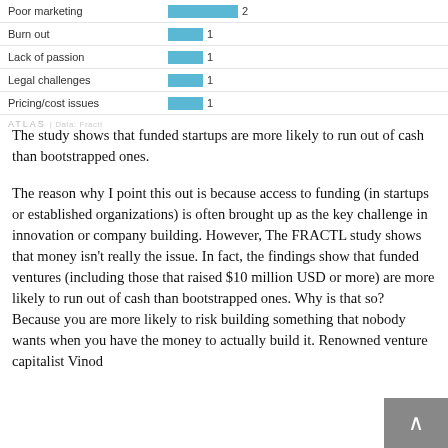[Figure (bar-chart): Reasons startups fail (partial)]
The study shows that funded startups are more likely to run out of cash than bootstrapped ones.
The reason why I point this out is because access to funding (in startups or established organizations) is often brought up as the key challenge in innovation or company building. However, The FRACTL study shows that money isn't really the issue. In fact, the findings show that funded ventures (including those that raised $10 million USD or more) are more likely to run out of cash than bootstrapped ones. Why is that so? Because you are more likely to risk building something that nobody wants when you have the money to actually build it. Renowned venture capitalist Vinod